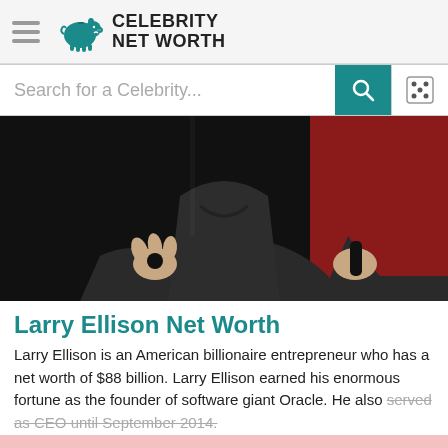Celebrity Net Worth
Search for a Celebrity...
[Figure (photo): Larry Ellison on stage holding microphones, wearing a dark sweater against a partially red background]
Larry Ellison Net Worth
Larry Ellison is an American billionaire entrepreneur who has a net worth of $88 billion. Larry Ellison earned his enormous fortune as the founder of software giant Oracle. He also served as CEO until September 2014.